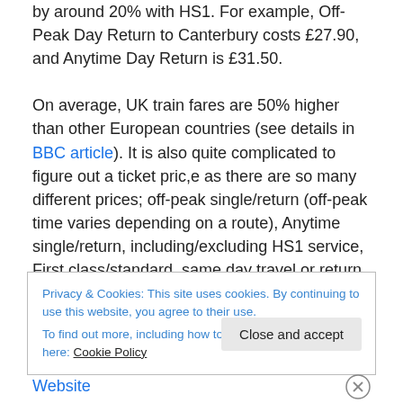by around 20% with HS1. For example, Off-Peak Day Return to Canterbury costs £27.90, and Anytime Day Return is £31.50.

On average, UK train fares are 50% higher than other European countries (see details in BBC article). It is also quite complicated to figure out a ticket pric,e as there are so many different prices; off-peak single/return (off-peak time varies depending on a route), Anytime single/return, including/excluding HS1 service, First class/standard, same day travel or return within 1 month, etc, etc. One
Privacy & Cookies: This site uses cookies. By continuing to use this website, you agree to their use.
To find out more, including how to control cookies, see here: Cookie Policy
Close and accept
Website